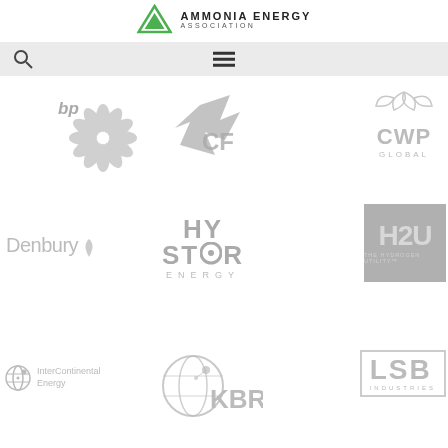[Figure (logo): Ammonia Energy Association logo with green triangle and text]
AMMONIA ENERGY ASSOCIATION
[Figure (logo): bp logo - greyscale]
[Figure (logo): CF Industries logo - greyscale arrow/flag with CF letters]
[Figure (logo): CWP Global logo - greyscale leaf/wind mark with CWP GLOBAL text]
[Figure (logo): Denbury logo with water drop icon - greyscale]
[Figure (logo): HyStor Energy logo - greyscale]
[Figure (logo): H2U The Hydrogen Utility logo - grey box]
[Figure (logo): InterContinental Energy logo - greyscale globe icon with text]
[Figure (logo): KBR logo - greyscale globe with KBR text]
[Figure (logo): LSB Industries logo - greyscale box with LSB text]